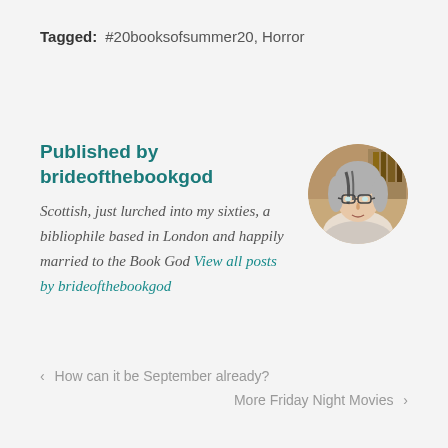Tagged: #20booksofsummer20, Horror
Published by brideofthebookgod
Scottish, just lurched into my sixties, a bibliophile based in London and happily married to the Book God View all posts by brideofthebookgod
[Figure (photo): Circular avatar photo of a woman with grey streaked hair and glasses]
‹  How can it be September already?
More Friday Night Movies  ›